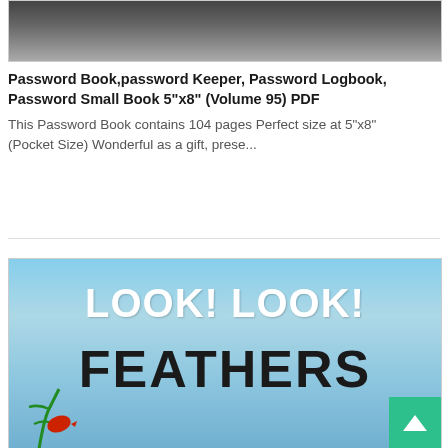[Figure (photo): Cropped top portion of an animal (appears to be a cat or similar furry animal), dark and grey tones, only the top of the image is visible]
Password Book,password Keeper, Password Logbook, Password Small Book 5"x8" (Volume 95) PDF
This Password Book contains 104 pages Perfect size at 5"x8" (Pocket Size) Wonderful as a gift, prese...
[Figure (photo): Book cover image showing 'LOOK! LOOK! FEATHERS' text on a blue sky background with plants and a red bird visible at the bottom left, and a green scroll-to-top button in the bottom right corner]